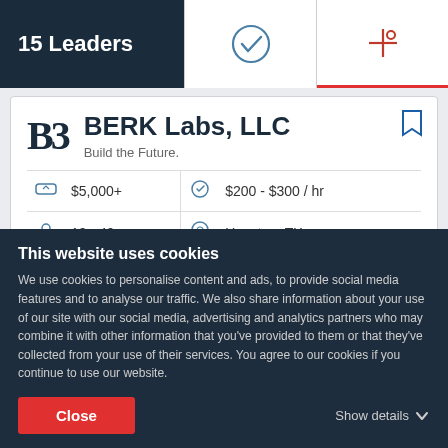15 Leaders
BERK Labs, LLC
Build the Future.
| $5,000+ | $200 - $300 / hr |
| 10 - 49 | Houston, TX |
Ability to deliver  31.2
This website uses cookies
We use cookies to personalise content and ads, to provide social media features and to analyse our traffic. We also share information about your use of our site with our social media, advertising and analytics partners who may combine it with other information that you've provided to them or that they've collected from your use of their services. You agree to our cookies if you continue to use our website.
Close
Show details